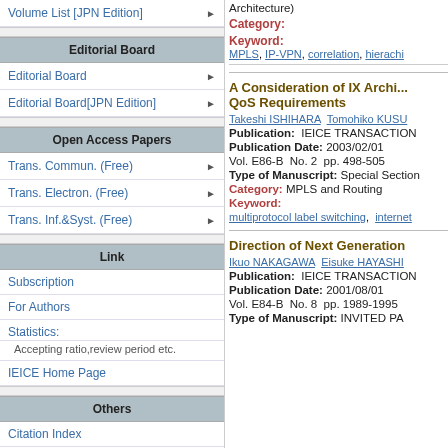Volume List [JPN Edition]
Editorial Board
Editorial Board
Editorial Board[JPN Edition]
Open Access Papers
Trans. Commun. (Free)
Trans. Electron. (Free)
Trans. Inf.&Syst. (Free)
Link
Subscription
For Authors
Statistics:
Accepting ratio,review period etc.
IEICE Home Page
Others
Citation Index
Architecture)
Category:
Keyword:
MPLS, IP-VPN, correlation, hierachi...
A Consideration of IX Archi... QoS Requirements
Takeshi ISHIHARA   Tomohiko KUSU...
Publication:   IEICE TRANSACTION...
Publication Date: 2003/02/01
Vol. E86-B  No. 2  pp. 498-505
Type of Manuscript:  Special Section...
Category: MPLS and Routing
Keyword:
multiprotocol label switching,  internet...
Direction of Next Generation...
Ikuo NAKAGAWA   Eisuke HAYASHI...
Publication:   IEICE TRANSACTION...
Publication Date: 2001/08/01
Vol. E84-B  No. 8  pp. 1989-1995
Type of Manuscript:  INVITED PA...